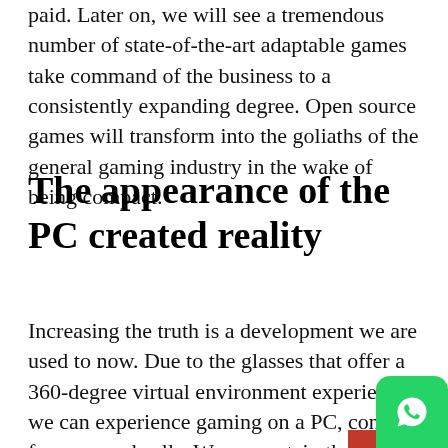paid. Later on, we will see a tremendous number of state-of-the-art adaptable games take command of the business to a consistently expanding degree. Open source games will transform into the goliaths of the general gaming industry in the wake of being compact.
The appearance of the PC created reality
Increasing the truth is a development we are used to now. Due to the glasses that offer a 360-degree virtual environment experience, we can experience gaming on a PC, control focuses, and cells. We are certain that devices, for instance, Oculus Rift and HTC Vive will end up being impressively more normal. In additi there are consolidated VR developments tha